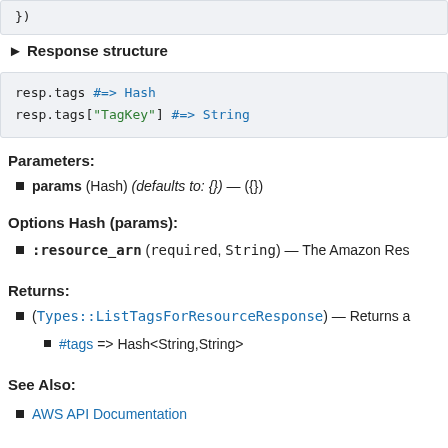})
► Response structure
resp.tags #=> Hash
resp.tags["TagKey"] #=> String
Parameters:
params (Hash) (defaults to: {}) — ({})
Options Hash (params):
:resource_arn (required, String) — The Amazon Res
Returns:
(Types::ListTagsForResourceResponse) — Returns a
#tags => Hash<String,String>
See Also:
AWS API Documentation